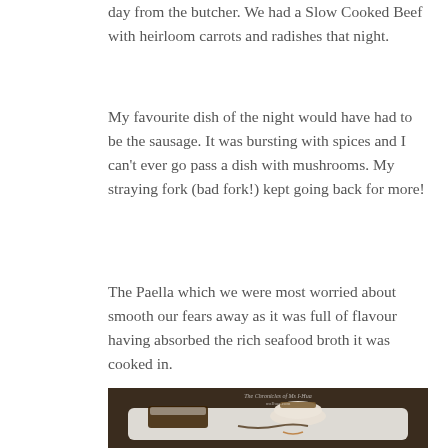day from the butcher. We had a Slow Cooked Beef with heirloom carrots and radishes that night.
My favourite dish of the night would have had to be the sausage. It was bursting with spices and I can't ever go pass a dish with mushrooms. My straying fork (bad fork!) kept going back for more!
The Paella which we were most worried about smooth our fears away as it was full of flavour having absorbed the rich seafood broth it was cooked in.
[Figure (photo): A white rectangular plate with a dessert: a stacked round meringue/cream dessert topped with chopped nuts and chocolate, with chocolate sauce drizzled on the plate. A brownie or chocolate bar piece with cream and fruit is also on the plate. Background is dark/warm.]